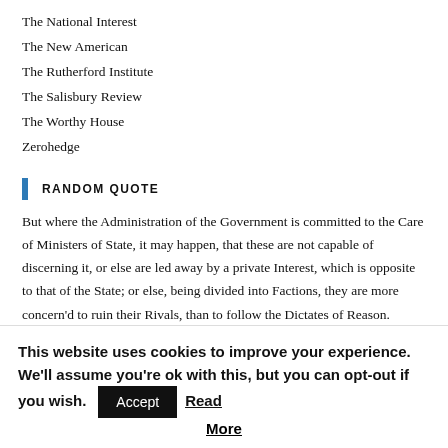The National Interest
The New American
The Rutherford Institute
The Salisbury Review
The Worthy House
Zerohedge
RANDOM QUOTE
But where the Administration of the Government is committed to the Care of Ministers of State, it may happen, that these are not capable of discerning it, or else are led away by a private Interest, which is opposite to that of the State; or else, being divided into Factions, they are more concern'd to ruin their Rivals, than to follow the Dictates of Reason.
This website uses cookies to improve your experience. We'll assume you're ok with this, but you can opt-out if you wish. Accept Read More